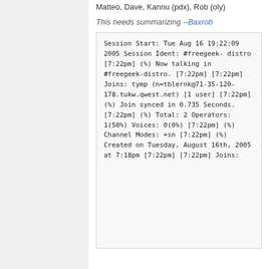Matteo, Dave, Kannu (pdx), Rob (oly)
This needs summarizing --Baxrob
Session Start: Tue Aug 16 19:22:09 2005
Session Ident: #freegeek-distro
[7:22pm] (%) Now talking in #freegeek-distro.
[7:22pm] [7:22pm] Joins: tymp (n=tblernk@71-35-120-178.tukw.qwest.net) [1 user]
[7:22pm] (%) Join synced in 0.735 Seconds.
[7:22pm] (%) Total: 2 Operators: 1(50%) Voices: 0(0%)
[7:22pm] (%) Channel Modes: +sn
[7:22pm] (%) Created on Tuesday, August 16th, 2005 at 7:18pm
[7:22pm] [7:22pm] Joins: